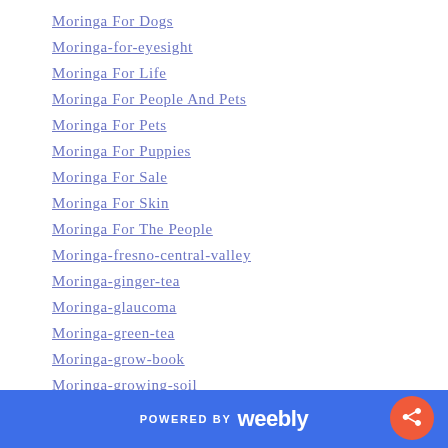Moringa For Dogs
Moringa-for-eyesight
Moringa For Life
Moringa For People And Pets
Moringa For Pets
Moringa For Puppies
Moringa For Sale
Moringa For Skin
Moringa For The People
Moringa-fresno-central-valley
Moringa-ginger-tea
Moringa-glaucoma
Moringa-green-tea
Moringa-grow-book
Moringa-growing-soil
Moringa Grow Kits
Moringa Hair Care
POWERED BY weebly